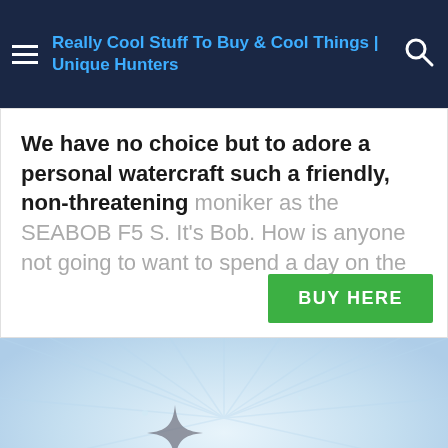Really Cool Stuff To Buy & Cool Things | Unique Hunters
We have no choice but to adore a personal watercraft such a friendly, non-threatening moniker as the SEABOB F5 S. It's Bob. How is anyone not going to want to spend a day on the
[Figure (screenshot): Product image area with light blue radiant background, sparkle/star shapes in grey, and teal heart/blob shape at bottom. Social share buttons (Facebook, Twitter, Pinterest) on the right side. A red Save button with 0 badge at the bottom.]